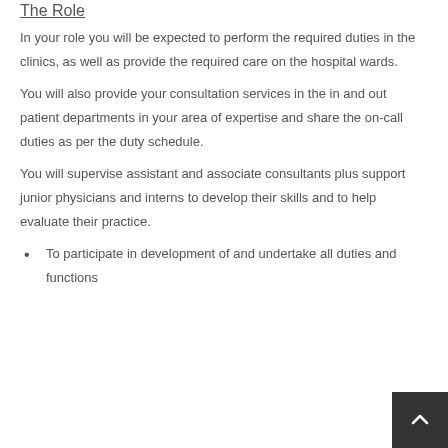The Role
In your role you will be expected to perform the required duties in the clinics, as well as provide the required care on the hospital wards.
You will also provide your consultation services in the in and out patient departments in your area of expertise and share the on-call duties as per the duty schedule.
You will supervise assistant and associate consultants plus support junior physicians and interns to develop their skills and to help evaluate their practice.
To participate in development of and undertake all duties and functions